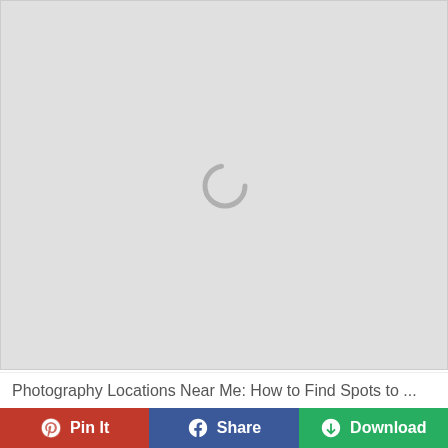[Figure (screenshot): Loading spinner (circular arc) centered on a light gray background, representing a web page image area that is still loading.]
Photography Locations Near Me: How to Find Spots to ...
Pin It
Share
Download